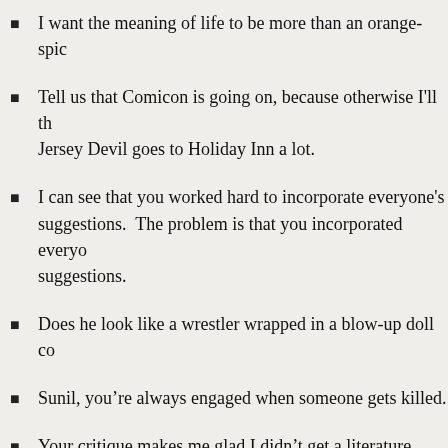I want the meaning of life to be more than an orange-spic…
Tell us that Comicon is going on, because otherwise I'll th… Jersey Devil goes to Holiday Inn a lot.
I can see that you worked hard to incorporate everyone's suggestions. The problem is that you incorporated everyo… suggestions.
Does he look like a wrestler wrapped in a blow-up doll co…
Sunil, you're always engaged when someone gets killed.
Your critique makes me glad I didn't get a literature degre…
Oh, this is so good!  He's so thwarted in love!